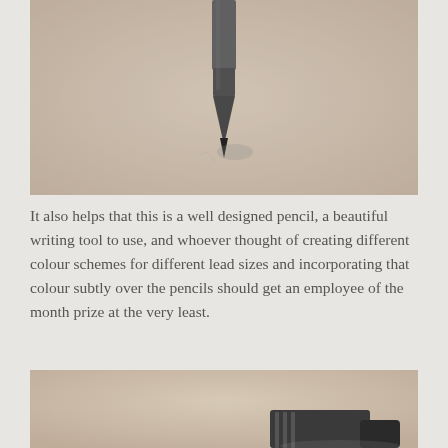[Figure (photo): Close-up photo of a mechanical pencil tip pointing downward against a beige/tan background, with the pencil body visible at the top center and a faint shadow.]
It also helps that this is a well designed pencil, a beautiful writing tool to use, and whoever thought of creating different colour schemes for different lead sizes and incorporating that colour subtly over the pencils should get an employee of the month prize at the very least.
[Figure (photo): Photo of what appears to be a pencil or writing instrument lying on a beige/tan surface, partially visible at the bottom of the page.]